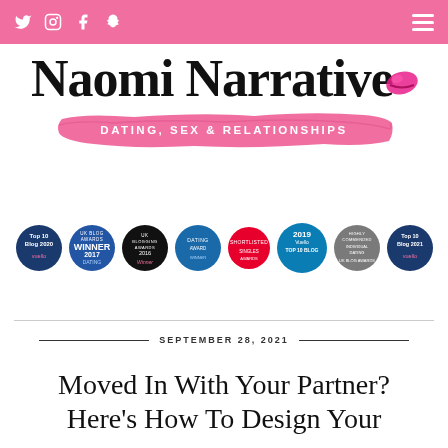Social icons (Twitter, Instagram, Facebook, Snapchat) and hamburger menu on pink bar
[Figure (logo): Naomi Narrative logo in cursive black script with pink lipstick mark, and pink brushstroke banner reading DATING, SEX & RELATIONSHIPS]
[Figure (infographic): Row of award badges: Top 10 Blog 2020 Vuello, UK Blog Awards Winner 2017 Dating, UK Blog Awards 2016 Winner, Dating award badge, Shortlisted badge, 2019 Vuello Top 10 Blog, Highly Commended Individual Dating UK Blog Awards, Top 10 Blog 2021]
SEPTEMBER 28, 2021
Moved In With Your Partner? Here's How To Design Your